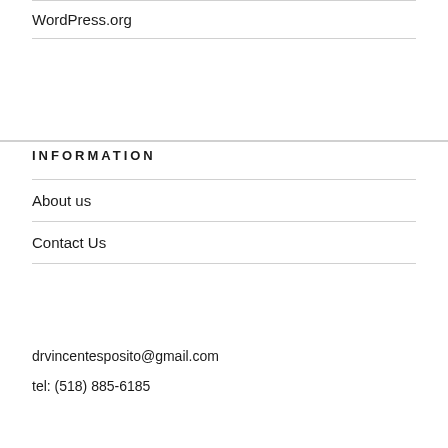WordPress.org
INFORMATION
About us
Contact Us
drvincentesposito@gmail.com
tel: (518) 885-6185